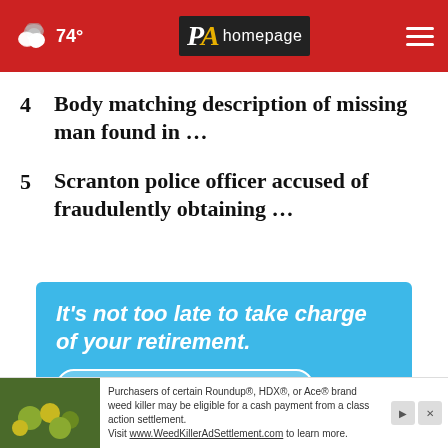74° PA Homepage
4  Body matching description of missing man found in …
5  Scranton police officer accused of fraudulently obtaining …
[Figure (other): Advertisement banner: 'It's not too late to take charge of your retirement. Go to AceYourRetirement.org →']
[Figure (other): Bottom ad strip: Roundup, HDX, or Ace brand weed killer class action settlement ad. Visit www.WeedKillerAdSettlement.com to learn more.]